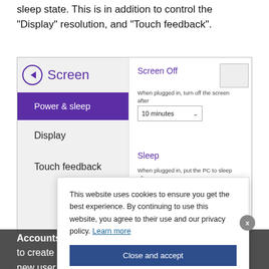sleep state. This is in addition to control the “Display” resolution, and “Touch feedback”.
[Figure (screenshot): Windows Screen settings panel showing Power & sleep selected in the left sidebar with Display and Touch feedback options, and Screen Off and Sleep settings on the right with a 10 minutes dropdown. A cookie consent popup overlays the bottom portion reading: This website uses cookies to ensure you get the best experience. By continuing to use this website, you agree to their use and our privacy policy. Learn more. With a Close and accept button and X close button.]
Accounts: This such as accoun and to create a to change or create a new user account